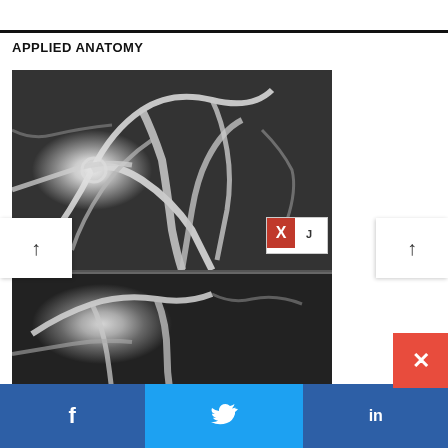APPLIED ANATOMY
[Figure (photo): Medical X-ray angiogram image showing vascular structures, displayed in two panels (top and bottom), with a logo/watermark in the lower right corner of the top panel. Navigation arrows visible on left and right sides.]
[Figure (other): Social media share bar at the bottom with Facebook (f), Twitter (bird), and LinkedIn (in) icons, plus a red close (x) button.]